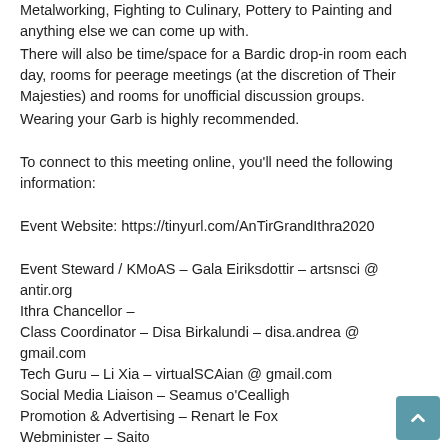Metalworking, Fighting to Culinary, Pottery to Painting and anything else we can come up with.
There will also be time/space for a Bardic drop-in room each day, rooms for peerage meetings (at the discretion of Their Majesties) and rooms for unofficial discussion groups.
Wearing your Garb is highly recommended.
To connect to this meeting online, you’ll need the following information:
Event Website: https://tinyurl.com/AnTirGrandIthra2020
Event Steward / KMoAS – Gala Eiriksdottir – artsnsci @ antir.org
Ithra Chancellor –
Class Coordinator – Disa Birkalundi – disa.andrea @ gmail.com
Tech Guru – Li Xia – virtualSCAian @ gmail.com
Social Media Liaison – Seamus o’Cealligh
Promotion & Advertising – Renart le Fox
Webminister – Saito
Please contact the individual above with any questions.